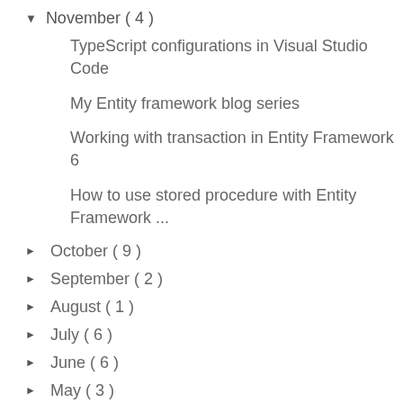▼ November ( 4 )
TypeScript configurations in Visual Studio Code
My Entity framework blog series
Working with transaction in Entity Framework 6
How to use stored procedure with Entity Framework ...
► October ( 9 )
► September ( 2 )
► August ( 1 )
► July ( 6 )
► June ( 6 )
► May ( 3 )